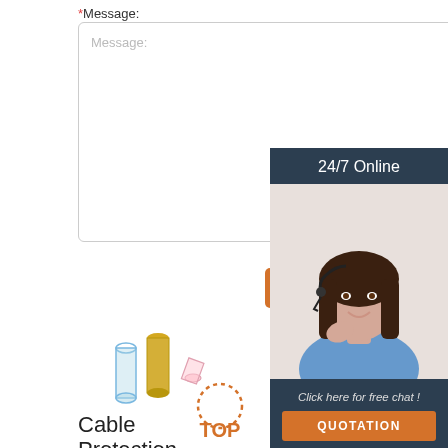* Message:
Message:
Submit Now
[Figure (photo): 24/7 Online chat widget with customer service woman wearing headset. Dark navy background with 'Click here for free chat!' text and orange QUOTATION button.]
[Figure (photo): Cable Protection product image showing cylindrical electrical connectors in blue, gold, and pink colors]
[Figure (photo): Wire conduits product image showing red, yellow, and blue push-on connectors]
[Figure (photo): Wire-Protection product image showing black cable and USB device on gray background]
Cable Protection
Wire conduits,
Wire-Protection